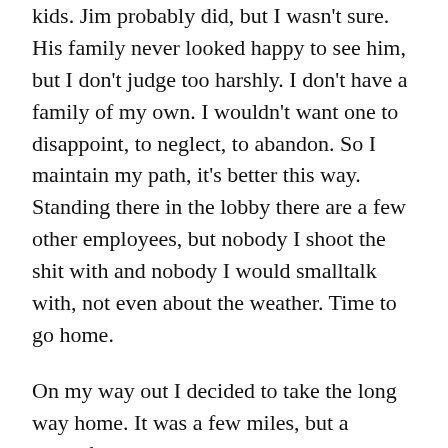kids. Jim probably did, but I wasn't sure. His family never looked happy to see him, but I don't judge too harshly. I don't have a family of my own. I wouldn't want one to disappoint, to neglect, to abandon. So I maintain my path, it's better this way. Standing there in the lobby there are a few other employees, but nobody I shoot the shit with and nobody I would smalltalk with, not even about the weather. Time to go home.
On my way out I decided to take the long way home. It was a few miles, but a beautiful walk through the town, our little big city. The town was old and felt like even older ancestry that reside here. Many generations have lived and died here. Folks tend to stay here, something about this place keeps you from venturing out too permanently but it's pleasing nonetheless living here. The bare roads at this time of night, a bit past one a.m., look beautiful